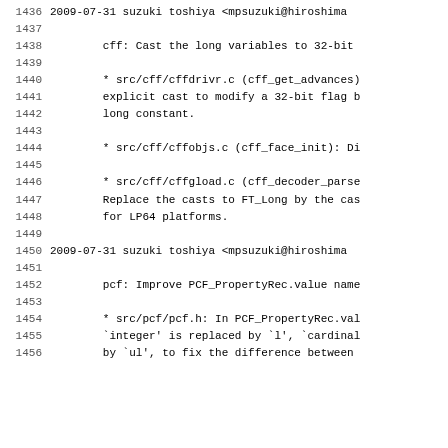1436    2009-07-31  suzuki toshiya  <mpsuzuki@hiroshima
1437
1438            cff: Cast the long variables to 32-bit
1439
1440            * src/cff/cffdrivr.c (cff_get_advances)
1441            explicit cast to modify a 32-bit flag b
1442            long constant.
1443
1444            * src/cff/cffobjs.c (cff_face_init): Di
1445
1446            * src/cff/cffgload.c (cff_decoder_parse
1447            Replace the casts to FT_Long by the cas
1448            for LP64 platforms.
1449
1450    2009-07-31  suzuki toshiya  <mpsuzuki@hiroshima
1451
1452            pcf: Improve PCF_PropertyRec.value name
1453
1454            * src/pcf/pcf.h: In PCF_PropertyRec.val
1455            `integer' is replaced by `l', `cardinal
1456            by `ul', to fix the difference between